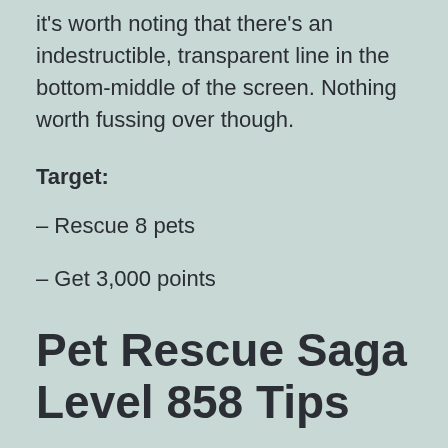it's worth noting that there's an indestructible, transparent line in the bottom-middle of the screen. Nothing worth fussing over though.
Target:
– Rescue 8 pets
– Get 3,000 points
Pet Rescue Saga Level 858 Tips
As soon as you start the Pet Rescue Saga Level 858 you'll notice that you have to save 8